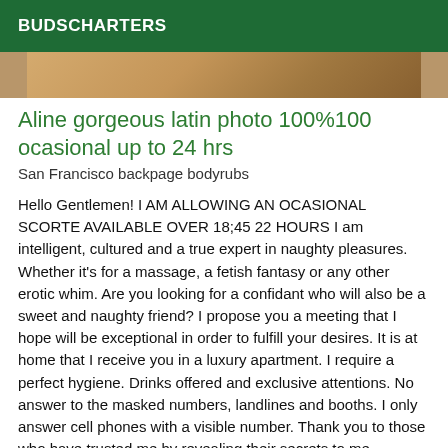BUDSCHARTERS
[Figure (photo): Partial photo strip showing what appears to be a wooden floor or surface, cropped to a horizontal strip]
Aline gorgeous latin photo 100%100 ocasional up to 24 hrs
San Francisco backpage bodyrubs
Hello Gentlemen! I AM ALLOWING AN OCASIONAL SCORTE AVAILABLE OVER 18;45 22 HOURS I am intelligent, cultured and a true expert in naughty pleasures. Whether it's for a massage, a fetish fantasy or any other erotic whim. Are you looking for a confidant who will also be a sweet and naughty friend? I propose you a meeting that I hope will be exceptional in order to fulfill your desires. It is at home that I receive you in a luxury apartment. I require a perfect hygiene. Drinks offered and exclusive attentions. No answer to the masked numbers, landlines and booths. I only answer cell phones with a visible number. Thank you to those who have trusted me by revealing their secrets to me